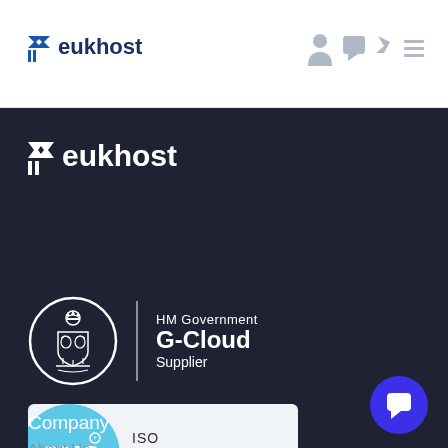[Figure (logo): eukhost logo in header bar — blue stylized double-arrow icon with 'eukhost' text in dark blue]
[Figure (logo): Navigation icons: person, chat bubble, shopping cart, hamburger menu in gray]
[Figure (logo): eukhost logo in white on dark background]
[Figure (logo): HM Government G-Cloud Supplier badge: royal crest circle with vertical divider and text 'HM Government G-Cloud Supplier']
[Figure (logo): QMS ISO 27001:2013 Registered certification badge: light blue circle with QMS text and ISO 27001:2013 REGISTERED text on light background]
Company
About Us